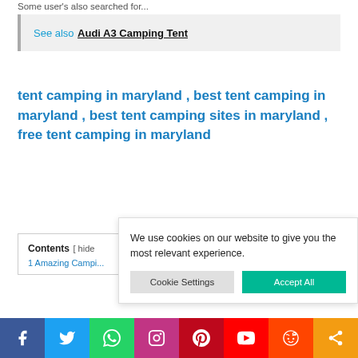Some user's also searched for...
See also  Audi A3 Camping Tent
tent camping in maryland , best tent camping in maryland , best tent camping sites in maryland , free tent camping in maryland
Contents [ hide
1 Amazing Campi...
We use cookies on our website to give you the most relevant experience.
Cookie Settings  Accept All
[Figure (infographic): Social media share bar at the bottom with icons for Facebook, Twitter, WhatsApp, Instagram, Pinterest, YouTube, Reddit, and Share]